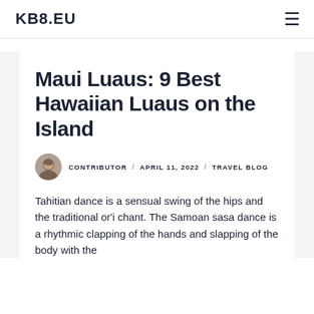KB8.EU
Maui Luaus: 9 Best Hawaiian Luaus on the Island
CONTRIBUTOR / APRIL 11, 2022 / TRAVEL BLOG
Tahitian dance is a sensual swing of the hips and the traditional or'i chant. The Samoan sasa dance is a rhythmic clapping of the hands and slapping of...